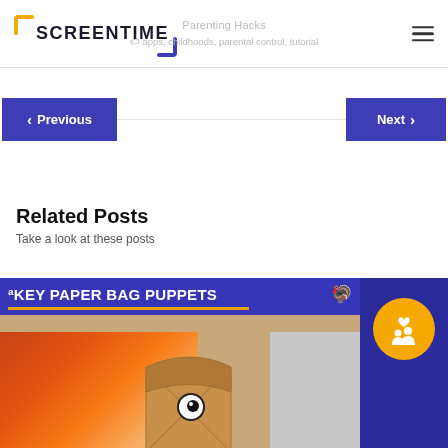SCREENTIME — Parenting Hacks — apps, childhoods, parental control, tutorial
< Previous
Next >
Related Posts
Take a look at these posts
[Figure (screenshot): Thumbnail for 'Turkey Paper Bag Puppets' blog post — blue banner with white bold text, a paper bag puppet and orange feathers/fire background]
[Figure (illustration): Partial thumbnail of another related post — dark blue background with a yellow circle containing a group/family icon in white]